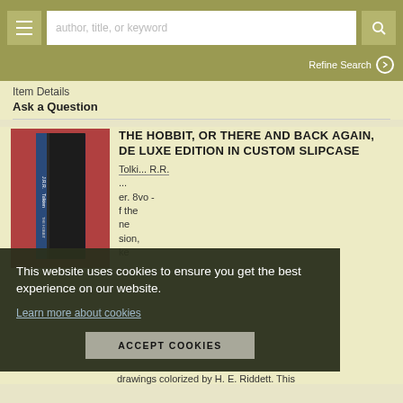author, title, or keyword | Refine Search
Item Details
Ask a Question
[Figure (photo): Book photo showing The Hobbit de luxe edition in custom slipcase]
THE HOBBIT, OR THERE AND BACK AGAIN, DE LUXE EDITION IN CUSTOM SLIPCASE
drawings colorized by H. E. Riddett. This
This website uses cookies to ensure you get the best experience on our website.
Learn more about cookies
ACCEPT COOKIES